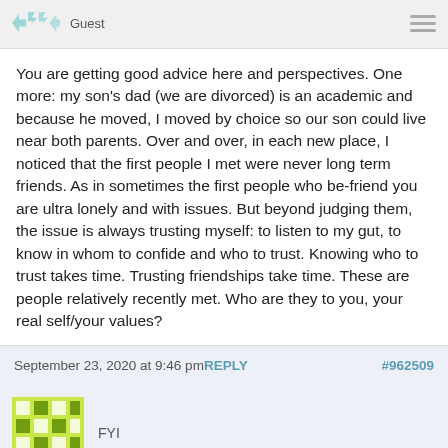Guest
You are getting good advice here and perspectives. One more: my son's dad (we are divorced) is an academic and because he moved, I moved by choice so our son could live near both parents. Over and over, in each new place, I noticed that the first people I met were never long term friends. As in sometimes the first people who be-friend you are ultra lonely and with issues. But beyond judging them, the issue is always trusting myself: to listen to my gut, to know in whom to confide and who to trust. Knowing who to trust takes time. Trusting friendships take time. These are people relatively recently met. Who are they to you, your real self/your values?
September 23, 2020 at 9:46 pm REPLY #962509
FYI